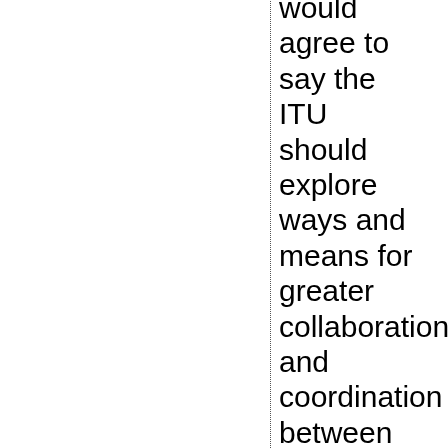would agree to say the ITU should explore ways and means for greater collaboration and coordination between ITU and Internet organizations (specified as ICANN, the RIRs, IETF, ISOC and W3C) in Res. 101, 102, 133, and the